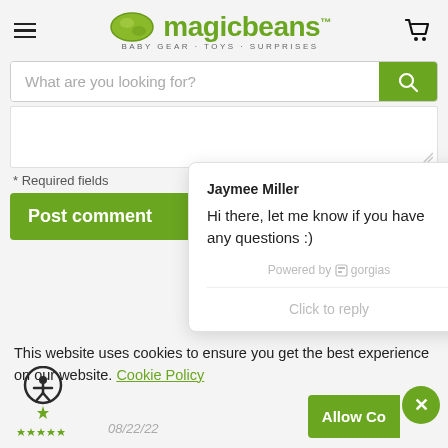[Figure (logo): Magic Beans logo with green bean illustration and text 'magic beans. BABY GEAR · TOYS · SURPRISES']
What are you looking for?
* Required fields
Post comment
Jaymee Miller
Hi there, let me know if you have any questions :)
Powered by gorgias
Click to reply
This website uses cookies to ensure you get the best experience on our website. Cookie Policy
Allow Co
08/22/22